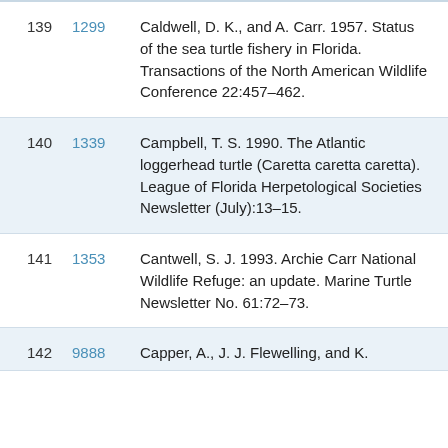| # | ID | Reference |
| --- | --- | --- |
| 139 | 1299 | Caldwell, D. K., and A. Carr. 1957. Status of the sea turtle fishery in Florida. Transactions of the North American Wildlife Conference 22:457–462. |
| 140 | 1339 | Campbell, T. S. 1990. The Atlantic loggerhead turtle (Caretta caretta caretta). League of Florida Herpetological Societies Newsletter (July):13–15. |
| 141 | 1353 | Cantwell, S. J. 1993. Archie Carr National Wildlife Refuge: an update. Marine Turtle Newsletter No. 61:72–73. |
| 142 | 9888 | Capper, A., J. J. Flewelling, and K. … |